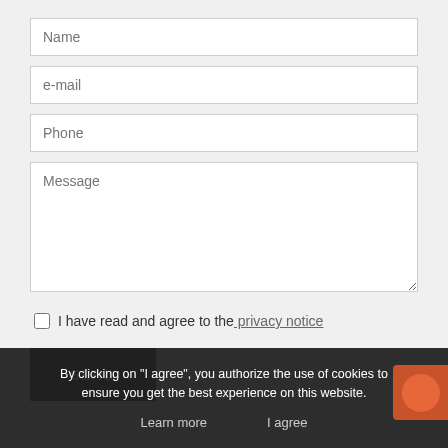Name
e-mail
Phone
Message
I have read and agree to the privacy notice
SEND
By clicking on "I agree", you authorize the use of cookies to ensure you get the best experience on this website.
Learn more
I agree